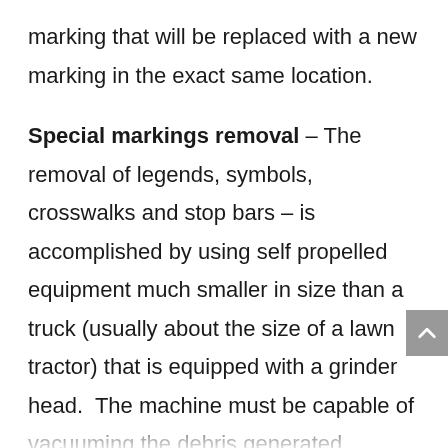marking that will be replaced with a new marking in the exact same location.
Special markings removal – The removal of legends, symbols, crosswalks and stop bars – is accomplished by using self propelled equipment much smaller in size than a truck (usually about the size of a lawn tractor) that is equipped with a grinder head.  The machine must be capable of vacuuming the debris generated simultaneously to the grinding operation